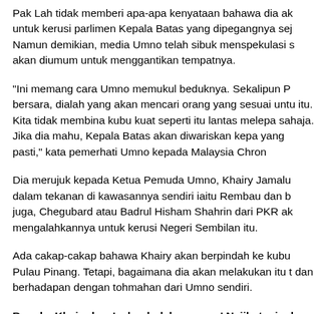Pak Lah tidak memberi apa-apa kenyataan bahawa dia ak untuk kerusi parlimen Kepala Batas yang dipegangnya sej Namun demikian, media Umno telah sibuk menspekulasi s akan diumum untuk menggantikan tempatnya.
"Ini memang cara Umno memukul beduknya. Sekalipun P bersara, dialah yang akan mencari orang yang sesuai untu itu. Kita tidak membina kubu kuat seperti itu lantas melepa sahaja. Jika dia mahu, Kepala Batas akan diwariskan kepa yang pasti," kata pemerhati Umno kepada Malaysia Chron
Dia merujuk kepada Ketua Pemuda Umno, Khairy Jamalu dalam tekanan di kawasannya sendiri iaitu Rembau dan b juga, Chegubard atau Badrul Hisham Shahrin dari PKR ak mengalahkannya untuk kerusi Negeri Sembilan itu.
Ada cakap-cakap bahawa Khairy akan berpindah ke kubu Pulau Pinang. Tetapi, bagaimana dia akan melakukan itu t dan berhadapan dengan tohmahan dari Umno sendiri.
Boneka Khairy lwn 'calon boleh menang' Najib, tapi ad akan menang?